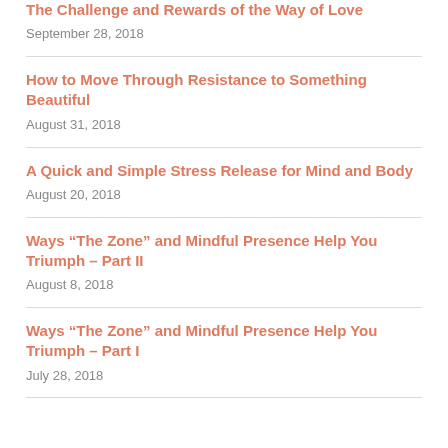The Challenge and Rewards of the Way of Love
September 28, 2018
How to Move Through Resistance to Something Beautiful
August 31, 2018
A Quick and Simple Stress Release for Mind and Body
August 20, 2018
Ways “The Zone” and Mindful Presence Help You Triumph – Part II
August 8, 2018
Ways “The Zone” and Mindful Presence Help You Triumph – Part I
July 28, 2018